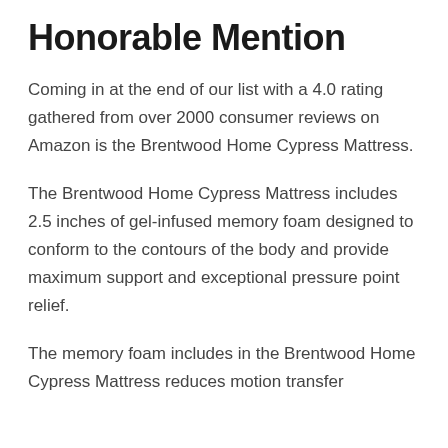Honorable Mention
Coming in at the end of our list with a 4.0 rating gathered from over 2000 consumer reviews on Amazon is the Brentwood Home Cypress Mattress.
The Brentwood Home Cypress Mattress includes 2.5 inches of gel-infused memory foam designed to conform to the contours of the body and provide maximum support and exceptional pressure point relief.
The memory foam includes in the Brentwood Home Cypress Mattress reduces motion transfer